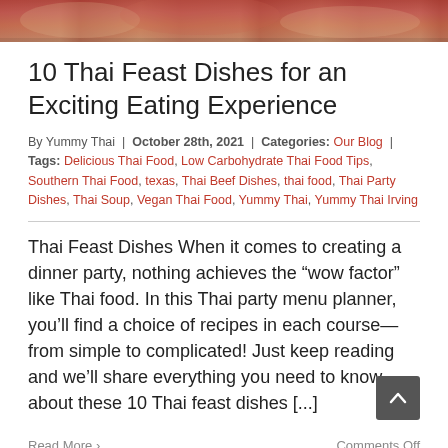[Figure (photo): Top photo strip showing Thai food dishes being served at a table]
10 Thai Feast Dishes for an Exciting Eating Experience
By Yummy Thai | October 28th, 2021 | Categories: Our Blog | Tags: Delicious Thai Food, Low Carbohydrate Thai Food Tips, Southern Thai Food, texas, Thai Beef Dishes, thai food, Thai Party Dishes, Thai Soup, Vegan Thai Food, Yummy Thai, Yummy Thai Irving
Thai Feast Dishes When it comes to creating a dinner party, nothing achieves the “wow factor” like Thai food. In this Thai party menu planner, you’ll find a choice of recipes in each course—from simple to complicated! Just keep reading and we’ll share everything you need to know about these 10 Thai feast dishes [...]
Read More ›
Comments Off